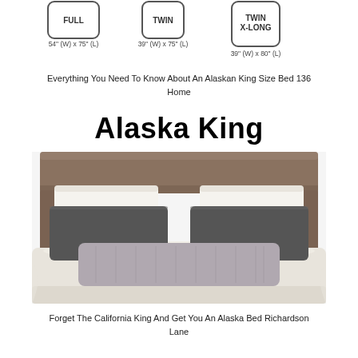[Figure (illustration): Three bed size icons at top: Full (54" W x 75" L), Twin (39" W x 75" L), Twin X-Long (39" W x 80" L) shown as rounded rectangle outlines with labels]
Everything You Need To Know About An Alaskan King Size Bed 136
Home
Alaska King
[Figure (photo): Photo of an Alaska King bed with a wood headboard, cream sheets, two large dark charcoal pillows, two white pillows behind, and a large gray lumbar pillow in front]
Forget The California King And Get You An Alaska Bed Richardson
Lane